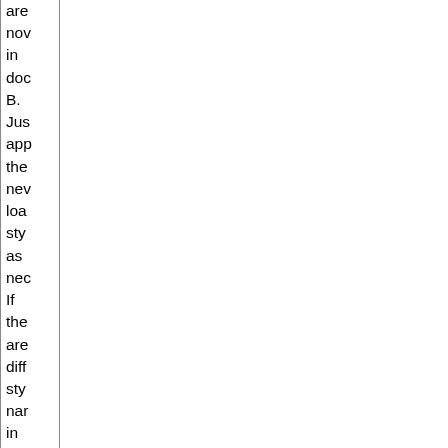are nov in doc B. Just app the nev loa sty as nec If the are diff sty nar in B tha you wi